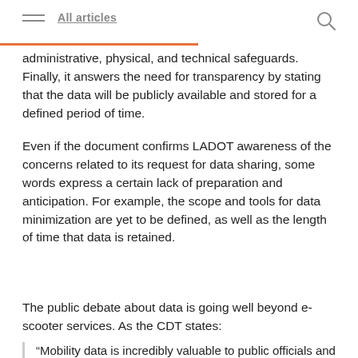All articles
administrative, physical, and technical safeguards. Finally, it answers the need for transparency by stating that the data will be publicly available and stored for a defined period of time.
Even if the document confirms LADOT awareness of the concerns related to its request for data sharing, some words express a certain lack of preparation and anticipation. For example, the scope and tools for data minimization are yet to be defined, as well as the length of time that data is retained.
The public debate about data is going well beyond e-scooter services. As the CDT states:
“Mobility data is incredibly valuable to public officials and private companies, and the policies around LADOT’s data specification will impact